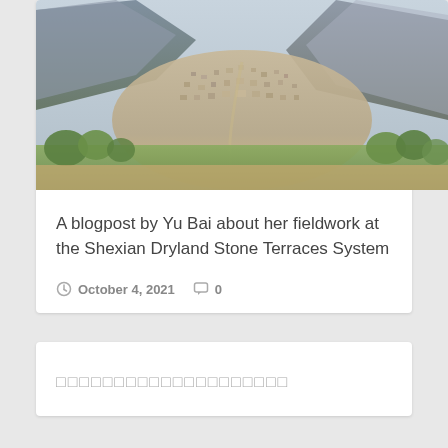[Figure (photo): Aerial/elevated view of a densely built hillside town nestled in a mountain valley with terraced slopes and green vegetation in the foreground]
A blogpost by Yu Bai about her fieldwork at the Shexian Dryland Stone Terraces System
October 4, 2021   0
□□□□□□□□□□□□□□□□□□□□